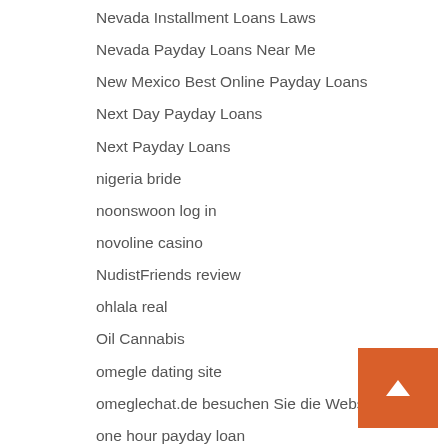Nevada Installment Loans Laws
Nevada Payday Loans Near Me
New Mexico Best Online Payday Loans
Next Day Payday Loans
Next Payday Loans
nigeria bride
noonswoon log in
novoline casino
NudistFriends review
ohlala real
Oil Cannabis
omegle dating site
omeglechat.de besuchen Sie die Website hier
one hour payday loan
Online Asian Dating